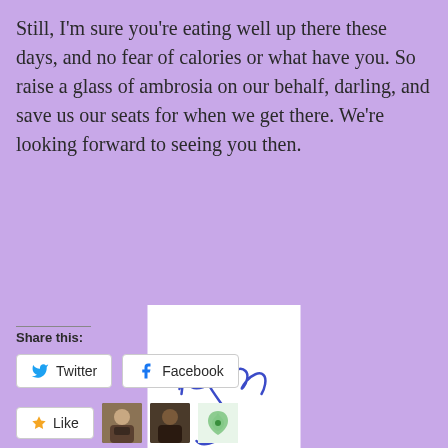Still, I'm sure you're eating well up there these days, and no fear of calories or what have you. So raise a glass of ambrosia on our behalf, darling, and save us our seats for when we get there. We're looking forward to seeing you then.
[Figure (illustration): A handwritten cursive signature reading 'Randy' in blue ink on a white square background]
Share this:
Twitter  Facebook
Like